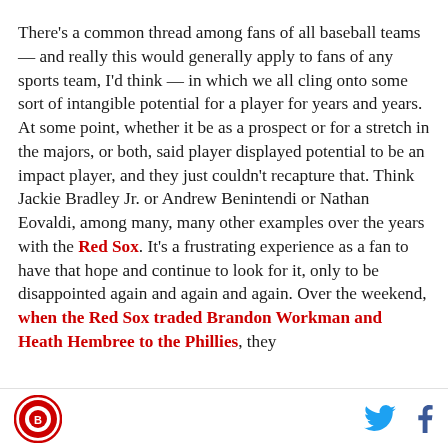There's a common thread among fans of all baseball teams — and really this would generally apply to fans of any sports team, I'd think — in which we all cling onto some sort of intangible potential for a player for years and years. At some point, whether it be as a prospect or for a stretch in the majors, or both, said player displayed potential to be an impact player, and they just couldn't recapture that. Think Jackie Bradley Jr. or Andrew Benintendi or Nathan Eovaldi, among many, many other examples over the years with the Red Sox. It's a frustrating experience as a fan to have that hope and continue to look for it, only to be disappointed again and again and again. Over the weekend, when the Red Sox traded Brandon Workman and Heath Hembree to the Phillies, they
Logo | Twitter | Facebook